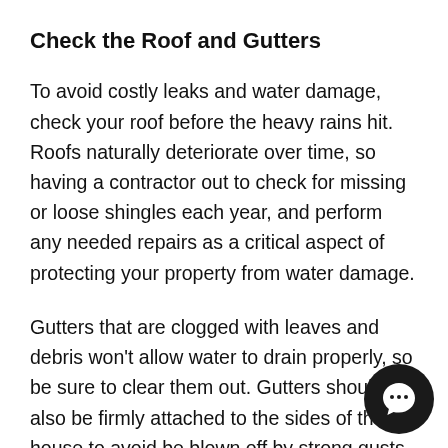Check the Roof and Gutters
To avoid costly leaks and water damage, check your roof before the heavy rains hit. Roofs naturally deteriorate over time, so having a contractor out to check for missing or loose shingles each year, and perform any needed repairs as a critical aspect of protecting your property from water damage.
Gutters that are clogged with leaves and debris won’t allow water to drain properly, so be sure to clear them out. Gutters should also be firmly attached to the sides of the house to avoid be blown off by strong gusts of wind, and shoul directed away from the house’s foundation to avoid